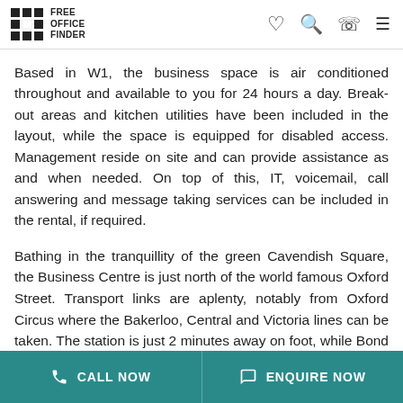FREE OFFICE FINDER
Based in W1, the business space is air conditioned throughout and available to you for 24 hours a day. Break-out areas and kitchen utilities have been included in the layout, while the space is equipped for disabled access. Management reside on site and can provide assistance as and when needed. On top of this, IT, voicemail, call answering and message taking services can be included in the rental, if required.
Bathing in the tranquillity of the green Cavendish Square, the Business Centre is just north of the world famous Oxford Street. Transport links are aplenty, notably from Oxford Circus where the Bakerloo, Central and Victoria lines can be taken. The station is just 2 minutes away on foot, while Bond Street offers the Jubilee line and is only a bit further afield. A wide variety of bus services operate up and down Oxford Street,
CALL NOW | ENQUIRE NOW